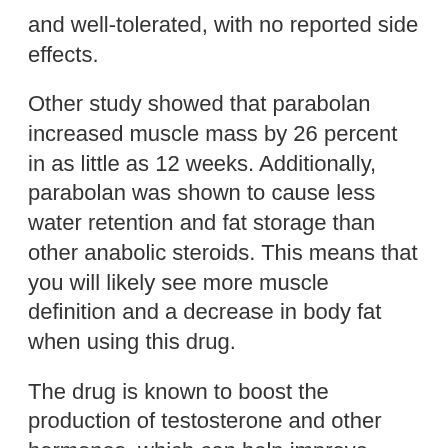and well-tolerated, with no reported side effects.
Other study showed that parabolan increased muscle mass by 26 percent in as little as 12 weeks. Additionally, parabolan was shown to cause less water retention and fat storage than other anabolic steroids. This means that you will likely see more muscle definition and a decrease in body fat when using this drug.
The drug is known to boost the production of testosterone and other hormones, which can help improve muscle growth and development. Additionally, parabolan may also help to minimize fat storage and promote the burning of calories for energy.
Parabolan for Cutting: Shreding...